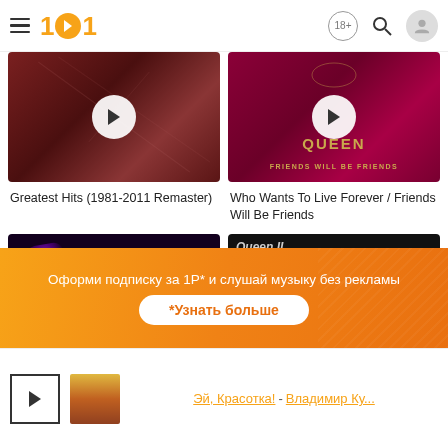101 | 18+ | search | user icon
[Figure (photo): Album thumbnail: Greatest Hits (1981-2011 Remaster) - dark red vinyl/album art with play button]
[Figure (photo): Album thumbnail: Who Wants To Live Forever / Friends Will Be Friends - Queen magenta album art with play button, QUEEN and FRIENDS WILL BE FRIENDS text]
Greatest Hits (1981-2011 Remaster)
Who Wants To Live Forever / Friends Will Be Friends
[Figure (photo): Album thumbnail: Queen - purple/dark with glowing Queen logo]
[Figure (photo): Album thumbnail: Queen II - dark album with band portrait]
Оформи подписку за 1Р* и слушай музыку без рекламы
*Узнать больше
Эй, Красотка! - Владимир Ку...